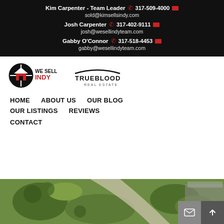Kim Carpenter - Team Leader 317-509-4000 sold@kimsellsindy.com | Josh Carpenter 317-402-9111 josh@wesellindyteam.com | Gabby O'Connor 317-518-4453 gabby@wesellindyteam.com
[Figure (logo): We Sell Indy logo with circular crosshair and red house icon, followed by Trueblood Real Estate logo]
HOME
ABOUT US
OUR BLOG
OUR LISTINGS
REVIEWS
CONTACT
[Figure (photo): Aerial view of a home with green lawn, driveway, and trees]